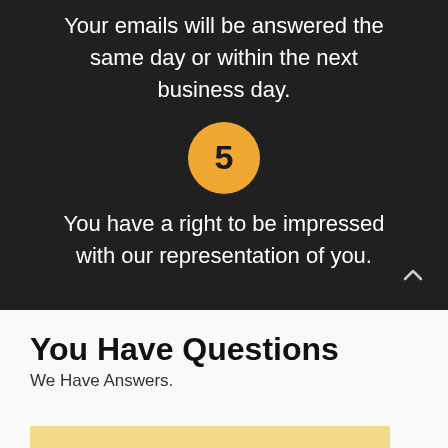Your emails will be answered the same day or within the next business day.
[Figure (infographic): Orange circle badge with number 5 on dark background]
You have a right to be impressed with our representation of you.
You Have Questions
We Have Answers.